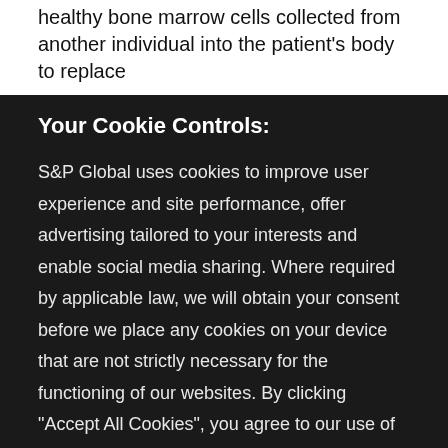healthy bone marrow cells collected from another individual into the patient's body to replace
Your Cookie Controls:
S&P Global uses cookies to improve user experience and site performance, offer advertising tailored to your interests and enable social media sharing. Where required by applicable law, we will obtain your consent before we place any cookies on your device that are not strictly necessary for the functioning of our websites. By clicking "Accept All Cookies", you agree to our use of cookies. Learn about our cookies and how to modify your preferences in our Cookie Notice